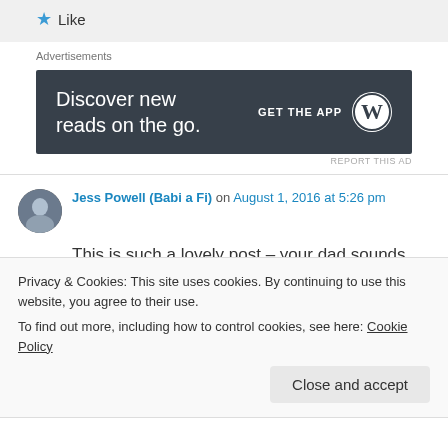★ Like
Advertisements
[Figure (other): WordPress app advertisement banner: 'Discover new reads on the go. GET THE APP' with WordPress logo]
REPORT THIS AD
Jess Powell (Babi a Fi) on August 1, 2016 at 5:26 pm
This is such a lovely post – your dad sounds like a wonderful man. Thanks so much for sharing over at #FridayFrivolity 🙂
Privacy & Cookies: This site uses cookies. By continuing to use this website, you agree to their use.
To find out more, including how to control cookies, see here: Cookie Policy
Close and accept
D. Parker on August 2, 2016 at 4:33 pm